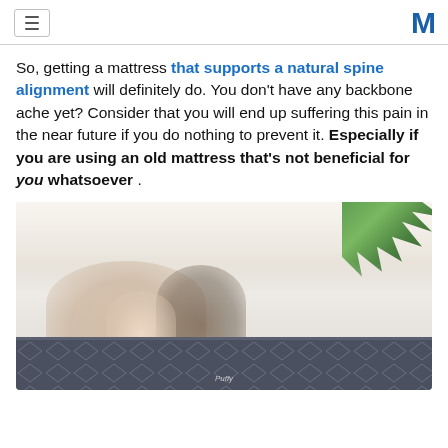[hamburger menu] [M logo]
So, getting a mattress that supports a natural spine alignment will definitely do. You don't have any backbone ache yet? Consider that you will end up suffering this pain in the near future if you do nothing to prevent it. Especially if you are using an old mattress that's not beneficial for you whatsoever .
[Figure (photo): A family of three (mother, father, and young child) smiling together on a Puffy mattress, with a green palm plant visible in the upper right corner. The mattress has a dark grey diamond-quilted pattern.]